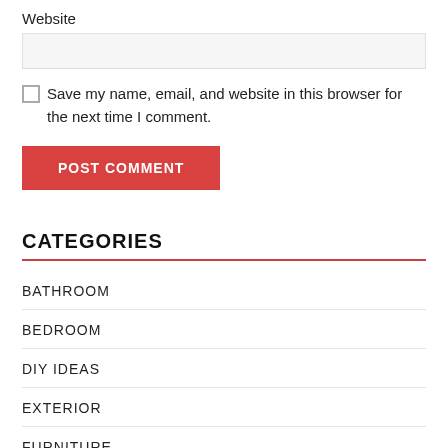Website
Save my name, email, and website in this browser for the next time I comment.
POST COMMENT
CATEGORIES
BATHROOM
BEDROOM
DIY IDEAS
EXTERIOR
FURNITURE
GARDEN
INTERIOR